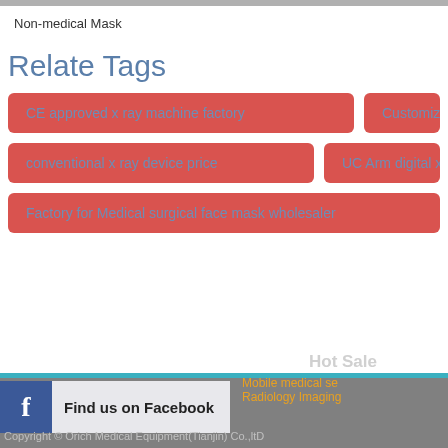Non-medical Mask
Relate Tags
CE approved x ray machine factory
Customize
conventional x ray device price
UC Arm digital x
Factory for Medical surgical face mask wholesaler
Find us on Facebook
Hot Sale
Mobile medical se
Radiology Imaging
Copyright © Orich Medical Equipment(Tianjin) Co.,ltD